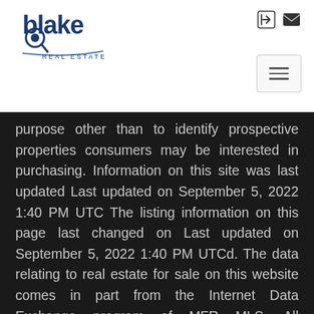[Figure (logo): Blake Real Estate logo — dark navy stylized text 'blake' with a magnifying glass icon on the 'b', and 'REAL ESTATE' in small caps below]
purpose other than to identify prospective properties consumers may be interested in purchasing. Information on this site was last updated Last updated on September 5, 2022 1:40 PM UTC The listing information on this page last changed on Last updated on September 5, 2022 1:40 PM UTCd. The data relating to real estate for sale on this website comes in part from the Internet Data Exchange program of MFR MLS. All information deemed reliable but not guaranteed. All properties are subject to prior sale, change or withdrawal. Neither listing broker(s) or information provider(s) shall be responsible for any typographical errors, misinformation, misprints and shall be held totally harmless. Listing(s) information is provided for consumers personal, non-commercial use and may not be used for any purpose other than to identify